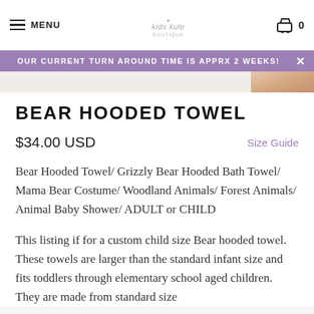MENU | kids kule boutique | 0
OUR CURRENT TURN AROUND TIME IS APPRX 2 WEEKS!
BEAR HOODED TOWEL
$34.00 USD
Size Guide
Bear Hooded Towel/ Grizzly Bear Hooded Bath Towel/ Mama Bear Costume/ Woodland Animals/ Forest Animals/ Animal Baby Shower/ ADULT or CHILD
This listing if for a custom child size Bear hooded towel. These towels are larger than the standard infant size and fits toddlers through elementary school aged children. They are made from standard size (30X50) f...